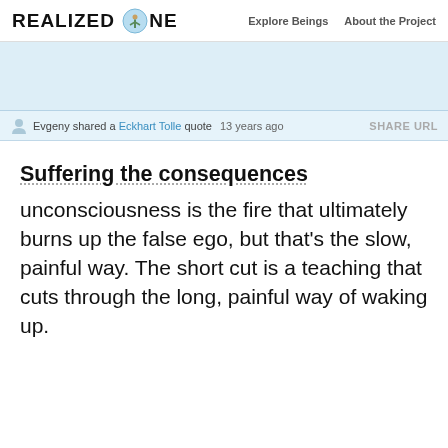REALIZED ONE   Explore Beings   About the Project
Evgeny shared a Eckhart Tolle quote  13 years ago   SHARE URL
Suffering the consequences
unconsciousness is the fire that ultimately burns up the false ego, but that's the slow, painful way. The short cut is a teaching that cuts through the long, painful way of waking up.